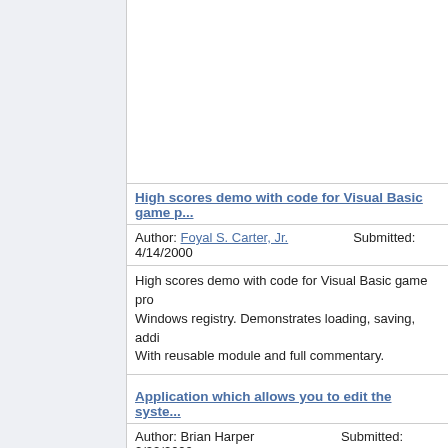High scores demo with code for Visual Basic game p...
Author: Foyal S. Carter, Jr.    Submitted: 4/14/2000
High scores demo with code for Visual Basic game pro... Windows registry. Demonstrates loading, saving, addi... With reusable module and full commentary.
Application which allows you to edit the syste...
Author: Brian Harper    Submitted: 2/22/2000
Application which allows you to edit the system registry...
Uses GetSetting registry function to retrieve the ...
Author: Justin Manley    Submitted: 1/3/2000
Uses GetSetting registry function to retrieve the size...